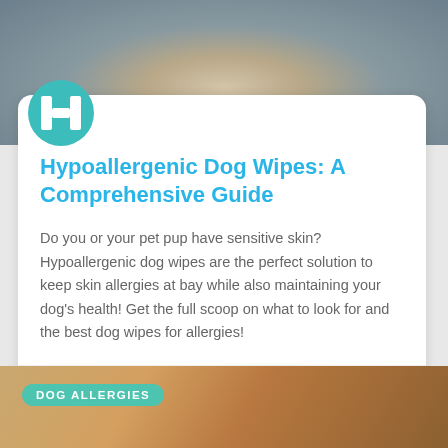[Figure (photo): Photo of a fluffy dog being petted, shown from the torso up, light and grey tones]
[Figure (logo): Teal circle logo with white H letter mark for Hypoallergenic Homes]
Hypoallergenic Dog Wipes: A Comprehensive Guide
Do you or your pet pup have sensitive skin? Hypoallergenic dog wipes are the perfect solution to keep skin allergies at bay while also maintaining your dog's health! Get the full scoop on what to look for and the best dog wipes for allergies!
Hypoallergenic Homes  |  11/01/2021
[Figure (photo): Photo of an orange tabby cat, lower portion of page, with a teal DOG ALLERGIES tag overlay]